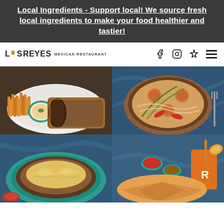Local Ingredients - Support local! We source fresh local ingredients to make your food healthier and tastier!
Los Reyes Mexican Restaurant
[Figure (photo): Chimichanga cut in half showing filling, served with french fries and a dipping sauce on a white plate]
[Figure (photo): Sizzling skillet with shrimp, scallops, and vegetables on a blue marble surface]
[Figure (photo): Mexican casserole dish with melted cheese in a teal bowl on a blue marble surface]
[Figure (photo): Quesadillas with sauces and a branded orange drink on a blue marble surface]